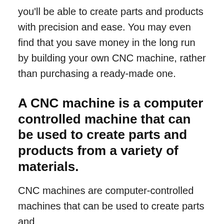you'll be able to create parts and products with precision and ease. You may even find that you save money in the long run by building your own CNC machine, rather than purchasing a ready-made one.
A CNC machine is a computer controlled machine that can be used to create parts and products from a variety of materials.
CNC machines are computer-controlled machines that can be used to create parts and